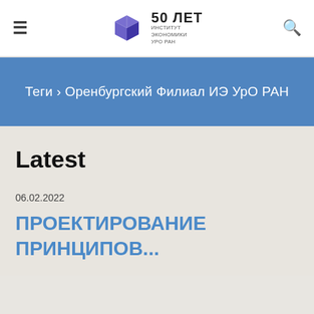≡  [Logo: 50 ЛЕТ ИНСТИТУТ ЭКОНОМИКИ УрО РАН]  🔍
Теги › Оренбургский Филиал ИЭ УрО РАН
Latest
06.02.2022
ПРОЕКТИРОВАНИЕ ПРИНЦИПОВ...